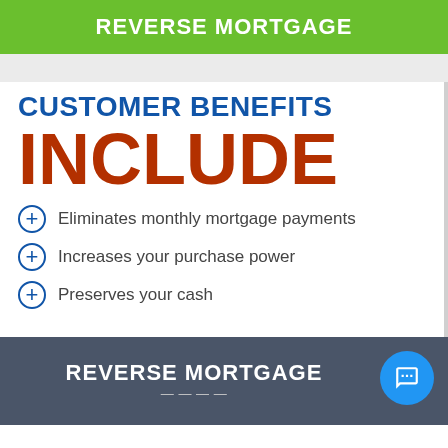REVERSE MORTGAGE
CUSTOMER BENEFITS INCLUDE
Eliminates monthly mortgage payments
Increases your purchase power
Preserves your cash
REVERSE MORTGAGE